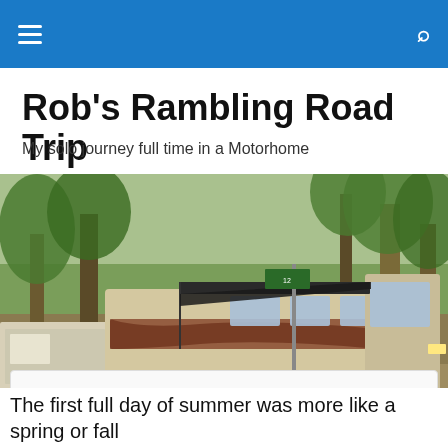Navigation bar with hamburger menu and search icon
Rob's Rambling Road Trip
My solo journey full time in a Motorhome
[Figure (photo): A large motorhome parked at a wooded campsite with awning extended and a picnic table nearby. A smaller trailer is visible to the left. Trees in background.]
Privacy & Cookies: This site uses cookies. By continuing to use this website, you agree to their use.
To find out more, including how to control cookies, see here: Cookie Policy
[Close and accept]
The first full day of summer was more like a spring or fall